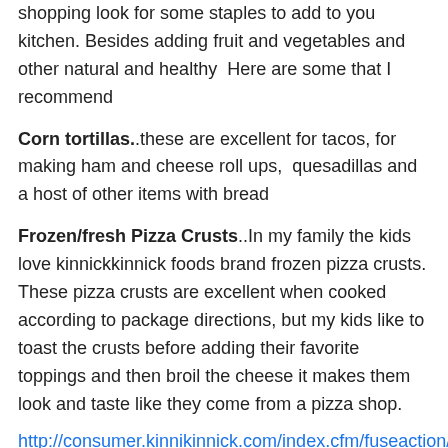shopping look for some staples to add to you kitchen. Besides adding fruit and vegetables and other natural and healthy  Here are some that I recommend
Corn tortillas..these are excellent for tacos, for making ham and cheese roll ups,  quesadillas and a host of other items with bread
Frozen/fresh Pizza Crusts..In my family the kids love kinnickkinnick foods brand frozen pizza crusts. These pizza crusts are excellent when cooked according to package directions, but my kids like to toast the crusts before adding their favorite toppings and then broil the cheese it makes them look and taste like they come from a pizza shop.
http://consumer.kinnikinnick.com/index.cfm/fuseaction/products.home/productcategoryid/34